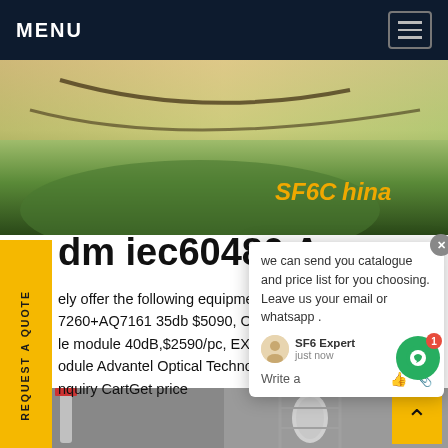MENU
[Figure (photo): Aerial or ground-level photo showing green foliage/plants with hose/cables, background in warm golden light. SF6China logo text visible bottom right in orange italic.]
dm iec60480 Au
ely offer the following equipment 7260+AQ7161 35db $5090, OTDR 5 le module 40dB,$2590/pc, EXPO odule Advantel Optical Technology Co., Ltd. Add nquiry CartGet price
[Figure (photo): Industrial photo showing pipes and scaffolding inside a building, with red and white painted pipes.]
we can send you catalogue and price list for you choosing.
Leave us your email or whatsapp .
SF6 Expert   just now
Write a